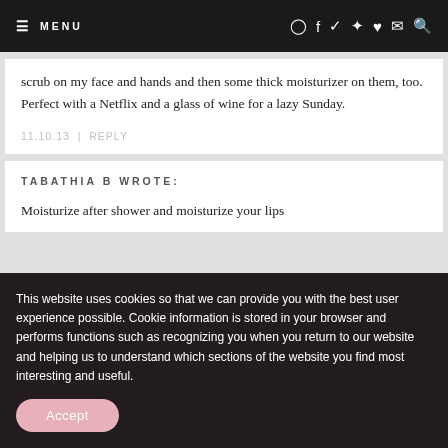☰ MENU | Instagram Facebook Twitter Pinterest Heart Mail Search
scrub on my face and hands and then some thick moisturizer on them, too. Perfect with a Netflix and a glass of wine for a lazy Sunday.
11.10.13  |  REPLY
TABATHIA B WROTE:
Moisturize after shower and moisturize your lips
This website uses cookies so that we can provide you with the best user experience possible. Cookie information is stored in your browser and performs functions such as recognizing you when you return to our website and helping us to understand which sections of the website you find most interesting and useful.
Accept